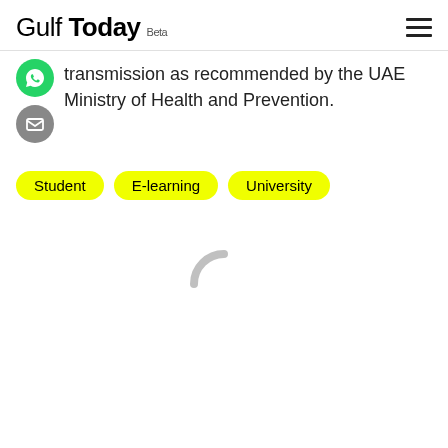Gulf Today Beta
transmission as recommended by the UAE Ministry of Health and Prevention.
Student
E-learning
University
[Figure (other): Loading spinner — grey partial circle arc indicating content loading]